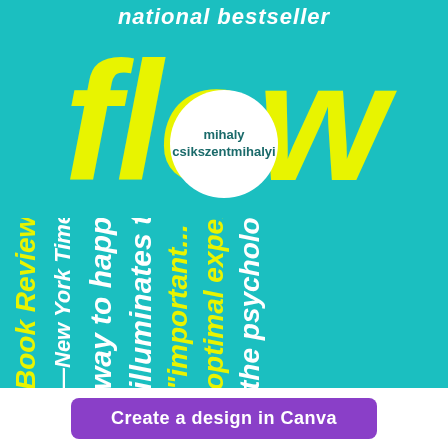national bestseller
flow
mihaly csikszentmihalyi
"important... illuminates the way to happiness optimal experience the psychology
—New York Times Book Review
Create a design in Canva